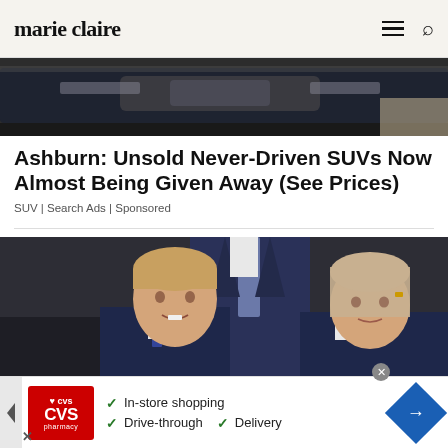marie claire
[Figure (photo): Partial view of a dark SUV vehicle, advertisement image]
Ashburn: Unsold Never-Driven SUVs Now Almost Being Given Away (See Prices)
SUV | Search Ads | Sponsored
[Figure (photo): Two children in formal dark navy attire — a boy and a girl — standing next to an adult in a navy suit with a dotted tie]
[Figure (infographic): CVS Pharmacy advertisement banner: In-store shopping, Drive-through, Delivery]